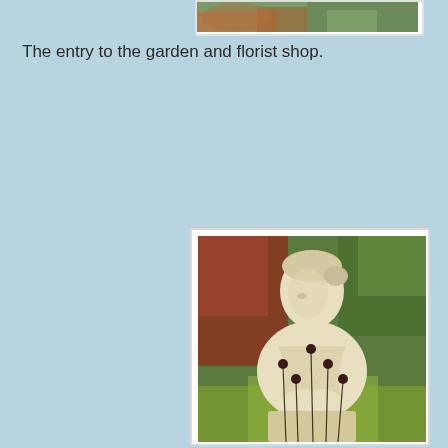[Figure (photo): Partial view of a photo at the top of the page showing a garden or florist shop entry area]
The entry to the garden and florist shop.
[Figure (photo): Classical stone bust sculpture of a female figure with wavy hair and draped clothing, surrounded by lush garden plants and dark red flowers on tall stems]